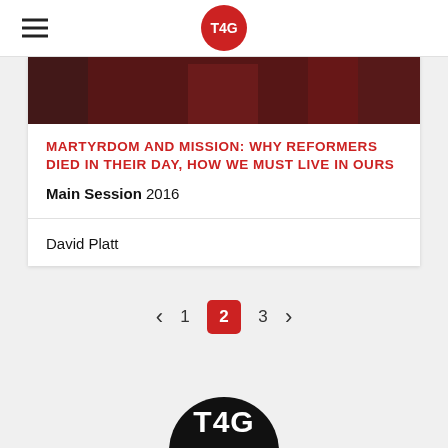T4G
[Figure (photo): Dark photo showing a speaker or presenter on stage with red curtain/backdrop]
MARTYRDOM AND MISSION: WHY REFORMERS DIED IN THEIR DAY, HOW WE MUST LIVE IN OURS
Main Session 2016
David Platt
< 1 2 3 >
[Figure (logo): T4G logo — white T4G text on black circle]